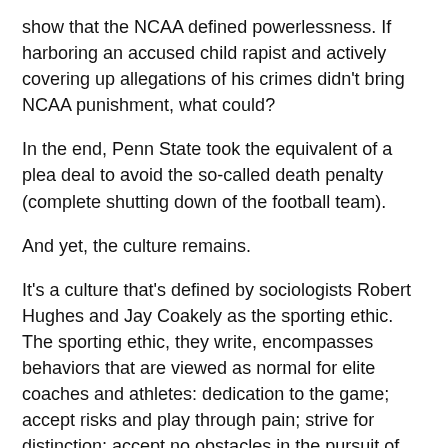show that the NCAA defined powerlessness. If harboring an accused child rapist and actively covering up allegations of his crimes didn't bring NCAA punishment, what could?
In the end, Penn State took the equivalent of a plea deal to avoid the so-called death penalty (complete shutting down of the football team).
And yet, the culture remains.
It's a culture that's defined by sociologists Robert Hughes and Jay Coakely as the sporting ethic. The sporting ethic, they write, encompasses behaviors that are viewed as normal for elite coaches and athletes: dedication to the game; accept risks and play through pain; strive for distinction; accept no obstacles in the pursuit of success. It's the blind acceptance of those behaviors that lead to many of the problems in sports — the use of performance-enhancing drugs; the issues facing players and concussions; the win-at-any-cost mentality.